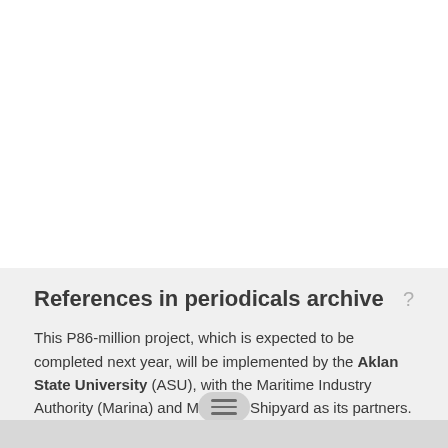References in periodicals archive
This P86-million project, which is expected to be completed next year, will be implemented by the Aklan State University (ASU), with the Maritime Industry Authority (Marina) and Metallica Shipyard as its partners.